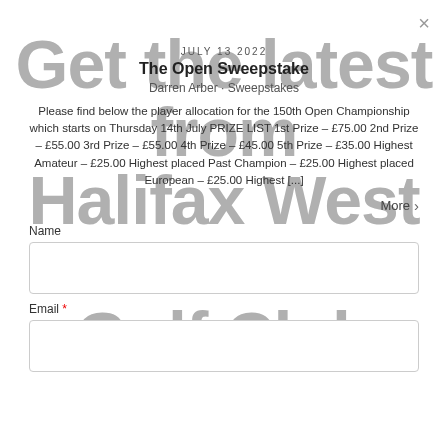×
Get the latest from Halifax West End Golf Club
JULY 13 2022
The Open Sweepstake
Darren Arber · Sweepstakes
Please find below the player allocation for the 150th Open Championship which starts on Thursday 14th July PRIZE LIST 1st Prize – £75.00 2nd Prize – £55.00 3rd Prize – £55.00 4th Prize – £45.00 5th Prize – £35.00 Highest Amateur – £25.00 Highest placed Past Champion – £25.00 Highest placed European – £25.00 Highest [...]
More >
Name
Email *